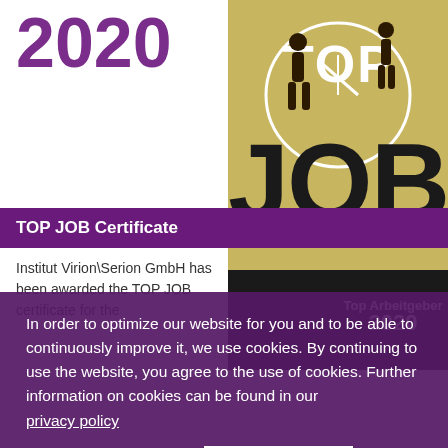2020
[Figure (logo): TOP JOB certificate award logo with gold background showing 'TOP JOB' text and silhouettes of people, with 'Top Arbeitgeber 2020' text]
TOP JOB Certificate
Institut Virion\Serion GmbH has been awarded the TOP JOB certificate for the ... Top Arbeitgeber 2020
In order to optimize our website for you and to be able to continuously improve it, we use cookies. By continuing to use the website, you agree to the use of cookies. Further information on cookies can be found in our privacy policy
Decline
Accept